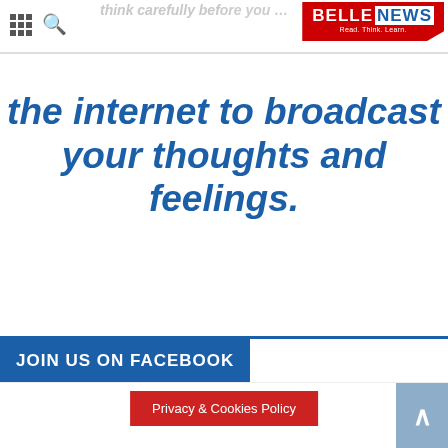BELLE NEWS — Read. Think. Learn.
the internet to broadcast your thoughts and feelings.
[youtube kl1ujzRidmU]
JOIN US ON FACEBOOK
Privacy & Cookies Policy